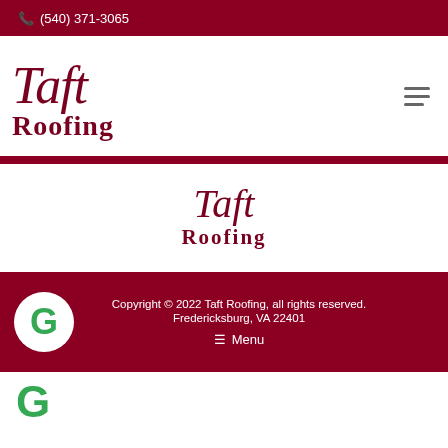(540) 371-3065
[Figure (logo): Taft Roofing logo top-left with italic serif Taft and bold Roofing text in dark red/maroon]
[Figure (logo): Taft Roofing logo centered in white section with italic serif Taft and bold Roofing text in dark red/maroon]
Copyright © 2022 Taft Roofing, all rights reserved. Fredericksburg, VA 22401 ☰ Menu
[Figure (logo): Google G logo (green) partially visible at bottom of page]